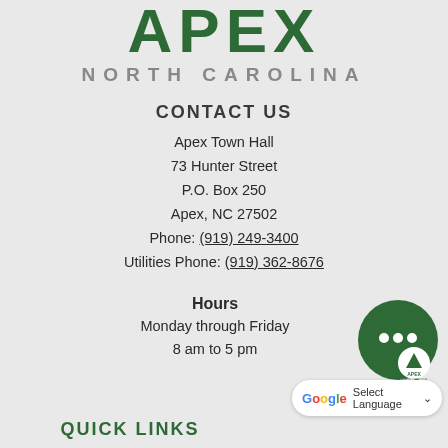[Figure (logo): Apex North Carolina town logo — large green bold APEX text with NORTH CAROLINA in grey below]
CONTACT US
Apex Town Hall
73 Hunter Street
P.O. Box 250
Apex, NC 27502
Phone: (919) 249-3400
Utilities Phone: (919) 362-8676
Hours
Monday through Friday
8 am to 5 pm
[Figure (illustration): Green chat bubble icon with three white dots and Apex logo in white circle, with CHAT NOW green button below]
[Figure (other): Google Translate Select Language widget]
QUICK LINKS